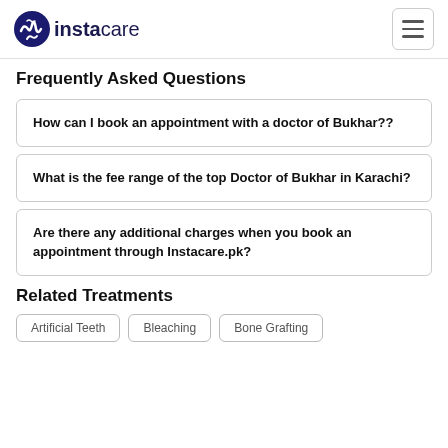instacare
Frequently Asked Questions
How can I book an appointment with a doctor of Bukhar??
What is the fee range of the top Doctor of Bukhar in Karachi?
Are there any additional charges when you book an appointment through Instacare.pk?
Related Treatments
Artificial Teeth
Bleaching
Bone Grafting